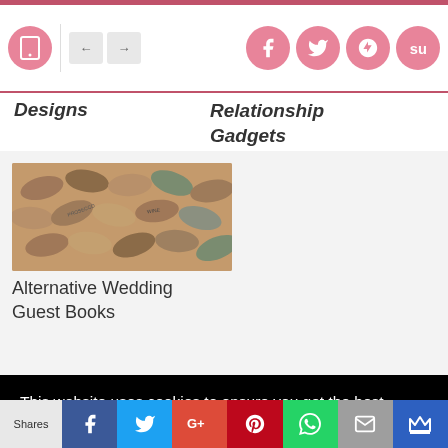Navigation bar with tablet icon, arrows, and social icons (Facebook, Twitter, Google+, StumbleUpon)
Designs
Relationship Gadgets
[Figure (photo): A pile of wine corks, some with branding, in brown, tan, and green tones]
Alternative Wedding Guest Books
This website uses cookies to ensure you get the best experience on our website.
More info
Got it!
Shares | Facebook | Twitter | Google+ | Pinterest | WhatsApp | Email | Crown